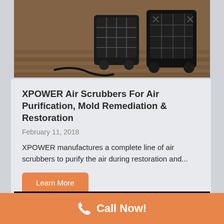[Figure (photo): Photo of XPOWER air scrubber machines on a wooden floor]
XPOWER Air Scrubbers For Air Purification, Mold Remediation & Restoration
February 11, 2018
XPOWER manufactures a complete line of air scrubbers to purify the air during restoration and...
Learn More
[Figure (photo): Photo of figurines/sculptures on dark background]
Call Now!